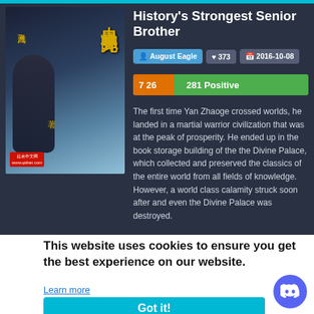[Figure (illustration): Book cover for 'History's Strongest Senior Brother' with Chinese characters and illustration of a martial arts character]
History's Strongest Senior Brother
August Eagle  ♥ 373  2016-10-08
7 26  281 Positive
The first time Yan Zhaoge crossed worlds, he landed in a martial warrior civilization that was at the peak of prosperity. He ended up in the book storage building of the the Divine Palace, which collected and preserved the classics of the entire world from all fields of knowledge. However, a world class calamity struck soon after and even the Divine Palace was destroyed.
but this  untless
s from  ond  jamer  finding
This website uses cookies to ensure you get the best experience on our website.
Learn more
Got it!
b
"I'm not a main character? In fact, I'm actually the u...